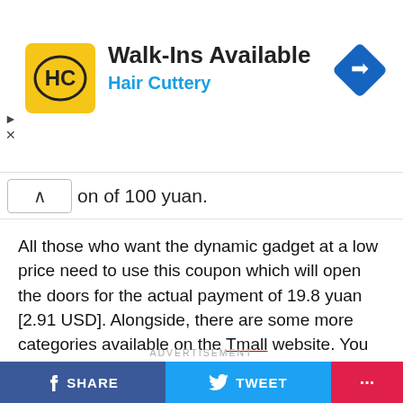[Figure (infographic): Hair Cuttery advertisement banner. Yellow square logo with 'HC' text, headline 'Walk-Ins Available', subtitle 'Hair Cuttery' in blue, blue diamond arrow icon on the right.]
on of 100 yuan.
All those who want the dynamic gadget at a low price need to use this coupon which will open the doors for the actual payment of 19.8 yuan [2.91 USD]. Alongside, there are some more categories available on the Tmall website. You can check the coupon details and other types in the link, below.
ADVERTISEMENT
[Figure (infographic): Jobs on Monster advertisement. 'Jobs on' in purple/pink, 'MONSTER' in large stylized text with alternating dark and green letters.]
SHARE   TWEET   ...